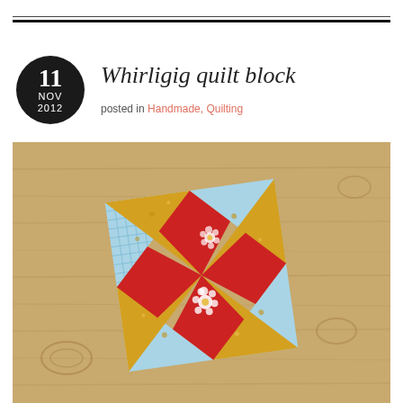Whirligig quilt block
posted in Handmade, Quilting
[Figure (photo): A whirligig quilt block displayed on a wooden table. The block features red floral fabric in a pinwheel/star center, light blue gingham checks, and gold/mustard floral fabric arranged in a windmill pattern.]